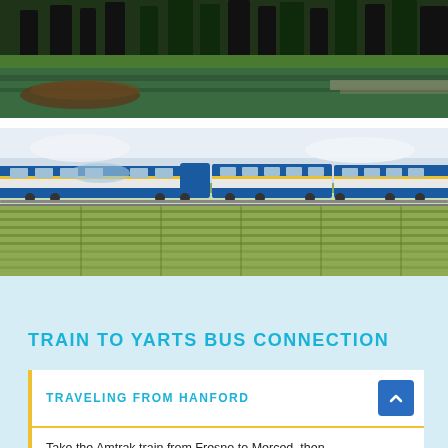[Figure (photo): Forest with trees reflected in a lake, dark green tones]
[Figure (photo): Blue and yellow Amtrak passenger train running through agricultural fields]
TRAIN TO YARTS BUS CONNECTION
TRAVELING FROM HANFORD
Take the Amtrak train from Fresno to Merced, then